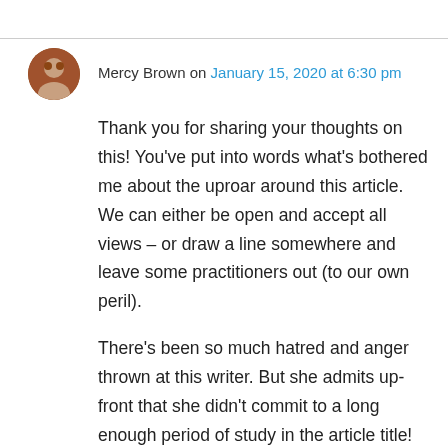Mercy Brown on January 15, 2020 at 6:30 pm
Thank you for sharing your thoughts on this! You've put into words what's bothered me about the uproar around this article. We can either be open and accept all views – or draw a line somewhere and leave some practitioners out (to our own peril).
There's been so much hatred and anger thrown at this writer. But she admits up-front that she didn't commit to a long enough period of study in the article title! It's like a Protestant who went to their first Latin (Catholic) mass and understood nothing. How could they? There are layers to such things as faith and metaphysics. Mysteries